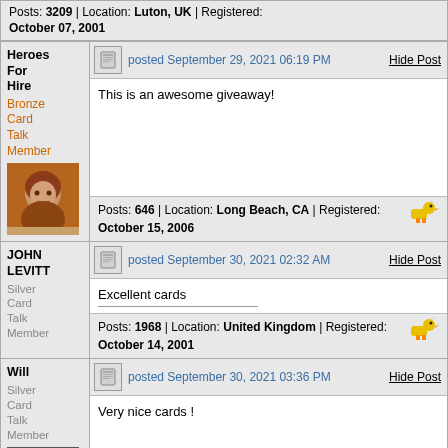Posts: 3209 | Location: Luton, UK | Registered: October 07, 2001
Heroes For Hire — Bronze Card Talk Member — posted September 29, 2021 06:19 PM — This is an awesome giveaway! — Posts: 646 | Location: Long Beach, CA | Registered: October 15, 2006
JOHN LEVITT — Silver Card Talk Member — posted September 30, 2021 02:32 AM — Excellent cards — Posts: 1968 | Location: United Kingdom | Registered: October 14, 2001
Will — Silver Card Talk Member — posted September 30, 2021 03:36 PM — Very nice cards !